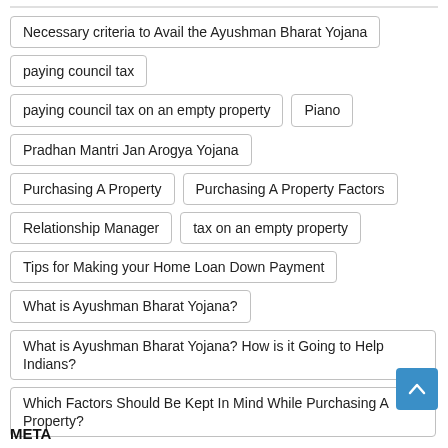Necessary criteria to Avail the Ayushman Bharat Yojana
paying council tax
paying council tax on an empty property
Piano
Pradhan Mantri Jan Arogya Yojana
Purchasing A Property
Purchasing A Property Factors
Relationship Manager
tax on an empty property
Tips for Making your Home Loan Down Payment
What is Ayushman Bharat Yojana?
What is Ayushman Bharat Yojana? How is it Going to Help Indians?
Which Factors Should Be Kept In Mind While Purchasing A Property?
META